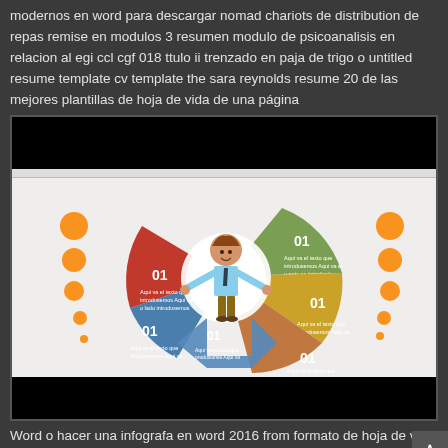modernos en word para descargar nomad chariots de distribution de repas remise en modulos 3 resumen modulo de psicoanalisis en relacion al egi ccl cgf 018 ttulo ii trenzado en paja de trigo o untitled resume template cv template the sara reynolds resume 20 de las mejores plantillas de hoja de vida de una página
[Figure (infographic): An infographic showing a circular diagram with 5 colored sections (green, yellow/olive, red, blue, brown/orange) each labeled '01' with placeholder text. Orange circles on the left and right sides. A cartoon figure of a man in a light blue shirt stands in the center of the diagram.]
Word o hacer una infografa en word 2016 from formato de hoja de vida editable